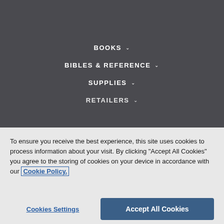BOOKS ∨
BIBLES & REFERENCE ∨
SUPPLIES ∨
RETAILERS ∨
To ensure you receive the best experience, this site uses cookies to process information about your visit. By clicking "Accept All Cookies" you agree to the storing of cookies on your device in accordance with our Cookie Policy.
Cookies Settings
Accept All Cookies